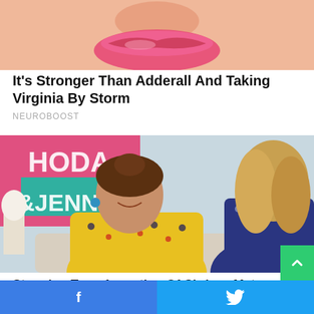[Figure (photo): Close-up of a woman's face with pink lipstick, cropped showing only nose/mouth area]
It's Stronger Than Adderall And Taking Virginia By Storm
NEUROBOOST
[Figure (photo): Two women sitting on a couch on the Hoda & Jenna show set. The woman on the left wears a yellow floral dress and smiles at camera. The woman on the right has blonde wavy hair and wears a navy floral top, seen from behind/side.]
Stunning Transformation Of Chrissy Metz
[Figure (infographic): Social share bar with Facebook and Twitter icons on blue backgrounds]